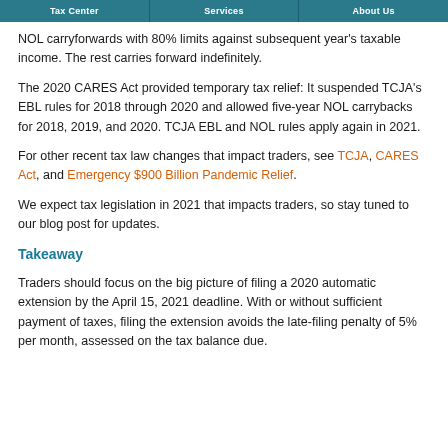Tax Center | Services | About Us
NOL carryforwards with 80% limits against subsequent year's taxable income. The rest carries forward indefinitely.
The 2020 CARES Act provided temporary tax relief: It suspended TCJA's EBL rules for 2018 through 2020 and allowed five-year NOL carrybacks for 2018, 2019, and 2020. TCJA EBL and NOL rules apply again in 2021.
For other recent tax law changes that impact traders, see TCJA, CARES Act, and Emergency $900 Billion Pandemic Relief.
We expect tax legislation in 2021 that impacts traders, so stay tuned to our blog post for updates.
Takeaway
Traders should focus on the big picture of filing a 2020 automatic extension by the April 15, 2021 deadline. With or without sufficient payment of taxes, filing the extension avoids the late-filing penalty of 5% per month, assessed on the tax balance due.